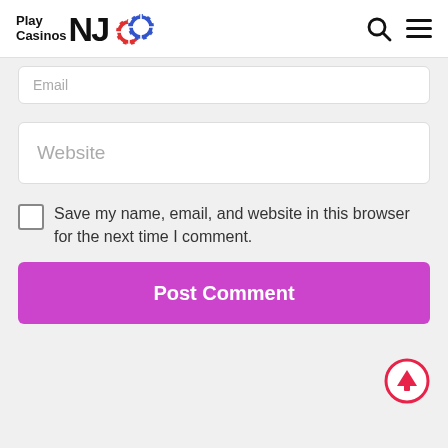[Figure (logo): Play Casinos NJ logo with poker chip icons]
Email
Website
Save my name, email, and website in this browser for the next time I comment.
Post Comment
[Figure (other): Scroll to top button — red circle with upward arrow]